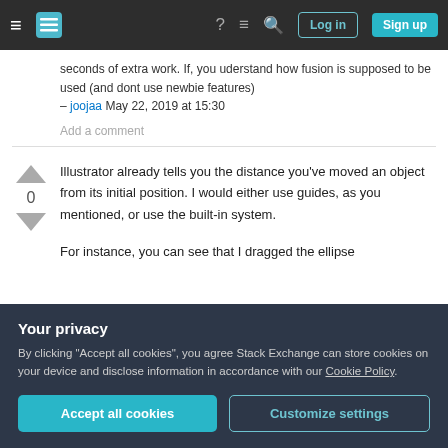Stack Exchange navigation bar with Log in and Sign up buttons
seconds of extra work. If, you uderstand how fusion is supposed to be used (and dont use newbie features) – joojaa May 22, 2019 at 15:30
Add a comment
Illustrator already tells you the distance you've moved an object from its initial position. I would either use guides, as you mentioned, or use the built-in system.
For instance, you can see that I dragged the ellipse
Your privacy
By clicking "Accept all cookies", you agree Stack Exchange can store cookies on your device and disclose information in accordance with our Cookie Policy.
Accept all cookies
Customize settings